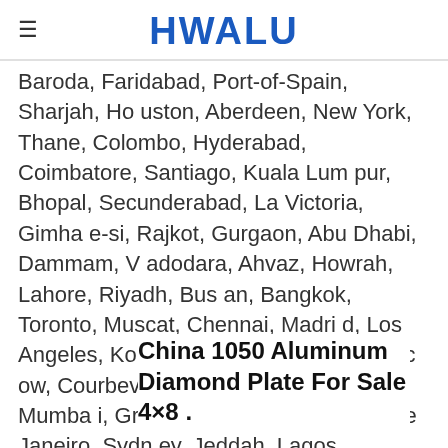HWALU
Baroda, Faridabad, Port-of-Spain, Sharjah, Houston, Aberdeen, New York, Thane, Colombo, Hyderabad, Coimbatore, Santiago, Kuala Lumpur, Bhopal, Secunderabad, La Victoria, Gimhae-si, Rajkot, Gurgaon, Abu Dhabi, Dammam, Vadodara, Ahvaz, Howrah, Lahore, Riyadh, Busan, Bangkok, Toronto, Muscat, Chennai, Madrid, Los Angeles, Kolkata, Ludhiana, Milan, Moscow, Courbevoie, Mexico City, Algiers, Mumbai, Granada, Navi Mumbai, Rio de Janeiro, Sydney, Jeddah, Lagos, Singapore, London, Kanpur, Cairo ... our, Jakarta ...
China 1050 Aluminum Diamond Plate For Sale 4×8 .